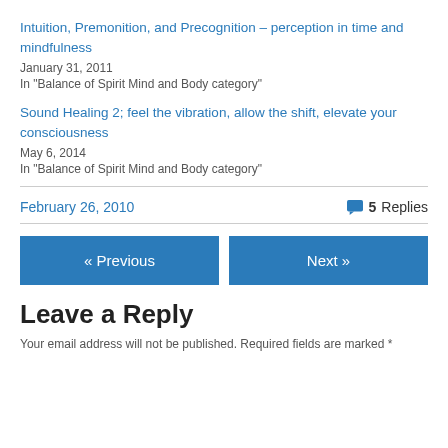Intuition, Premonition, and Precognition – perception in time and mindfulness
January 31, 2011
In "Balance of Spirit Mind and Body category"
Sound Healing 2; feel the vibration, allow the shift, elevate your consciousness
May 6, 2014
In "Balance of Spirit Mind and Body category"
February 26, 2010
5 Replies
« Previous
Next »
Leave a Reply
Your email address will not be published. Required fields are marked *